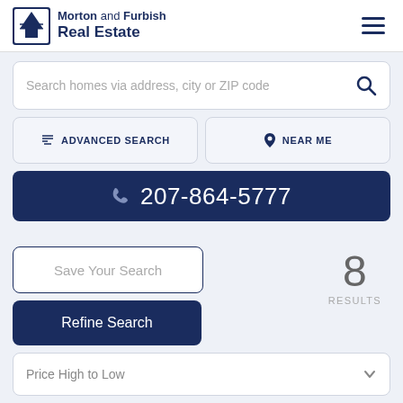[Figure (logo): Morton and Furbish Real Estate logo with tree icon]
Search homes via address, city or ZIP code
ADVANCED SEARCH
NEAR ME
207-864-5777
Save Your Search
8
RESULTS
Refine Search
Price High to Low